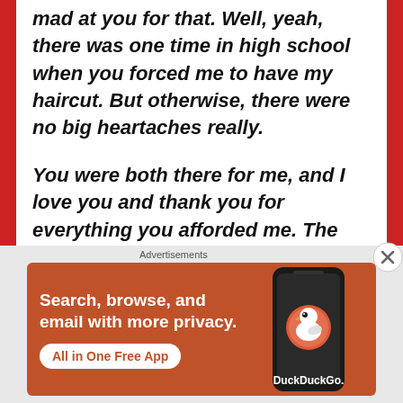mad at you for that. Well, yeah, there was one time in high school when you forced me to have my haircut. But otherwise, there were no big heartaches really.
You were both there for me, and I love you and thank you for everything you afforded me. The many wonderful experiences in my life – these would not have been possible if you had not made me what I am today.  I will always cherish those unforgettable memories; of our travels together, the simple joys, the food and fun, the
Advertisements
[Figure (screenshot): DuckDuckGo advertisement banner: orange/brown background with white text 'Search, browse, and email with more privacy.' and 'All in One Free App' button, with a phone showing the DuckDuckGo app icon on the right]